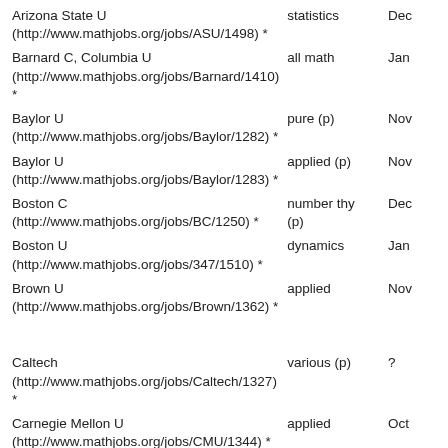| Institution | Field | Deadline |
| --- | --- | --- |
| Arizona State U (http://www.mathjobs.org/jobs/ASU/1498) * | statistics | Dec |
| Barnard C, Columbia U (http://www.mathjobs.org/jobs/Barnard/1410) * | all math | Jan |
| Baylor U (http://www.mathjobs.org/jobs/Baylor/1282) * | pure (p) | Nov |
| Baylor U (http://www.mathjobs.org/jobs/Baylor/1283) * | applied (p) | Nov |
| Boston C (http://www.mathjobs.org/jobs/BC/1250) * | number thy (p) | Dec |
| Boston U (http://www.mathjobs.org/jobs/347/1510) * | dynamics | Jan |
| Brown U (http://www.mathjobs.org/jobs/Brown/1362) * | applied | Nov |
|  |  |  |
| Caltech (http://www.mathjobs.org/jobs/Caltech/1327) * | various (p) | ? |
| Carnegie Mellon U (http://www.mathjobs.org/jobs/CMU/1344) * | applied | Oct |
| Carnegie Mellon U (http://www.mathjobs.org/jobs/CMU/1336) * | combinatorics | Dec |
| Carnegie Mellon U | probability | Jan |